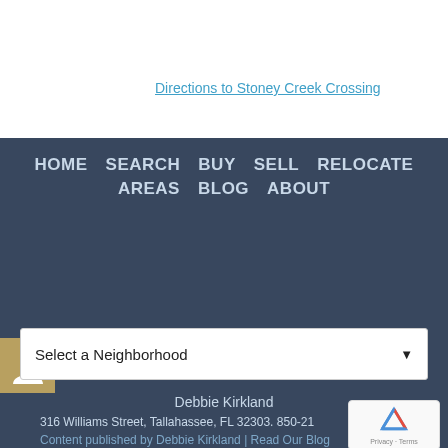Directions to Stoney Creek Crossing
HOME  SEARCH  BUY  SELL  RELOCATE
AREAS  BLOG  ABOUT
Select a Neighborhood
Debbie Kirkland
316 Williams Street, Tallahassee, FL 32303. 850-21...
Content published by Debbie Kirkland | Read Our Blog